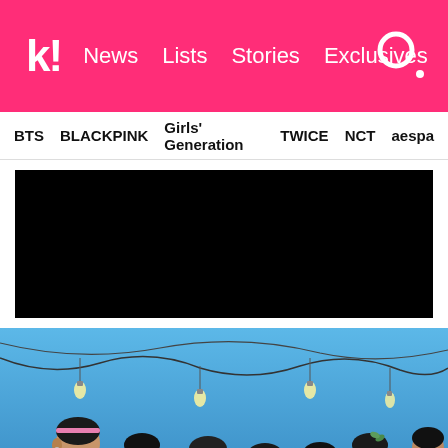k! News Lists Stories Exclusives
BTS  BLACKPINK  Girls' Generation  TWICE  NCT  aespa
[Figure (other): Black rectangle representing a video or advertisement embed area]
[Figure (photo): BTS group photo with seven members posing against a blue sky background with string lights and hanging bulbs]